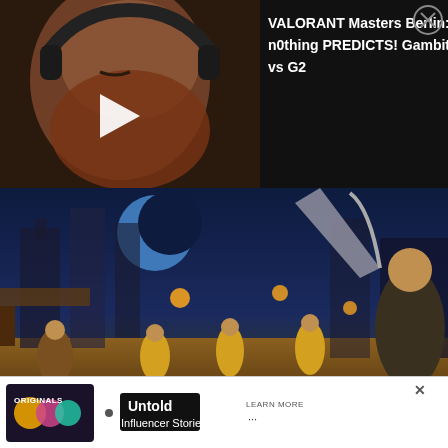[Figure (screenshot): Video thumbnail showing a man with a beard wearing headphones with eyes closed, dark background, with a white play button triangle overlay]
VALORANT Masters Berlin: n0thing PREDICTS! Gambit vs G2
[Figure (photo): Prince of Persia Sands of Time Remake artwork showing warriors fighting in a fantastical Middle Eastern city at night with a crescent moon]
prince of persia sands of time remake prince fighting
Ubisoft issued a statement confirming another delay for the ake, follow
[Figure (screenshot): Advertisement banner showing Originals logo and Untold Influencer Stories with Learn More button]